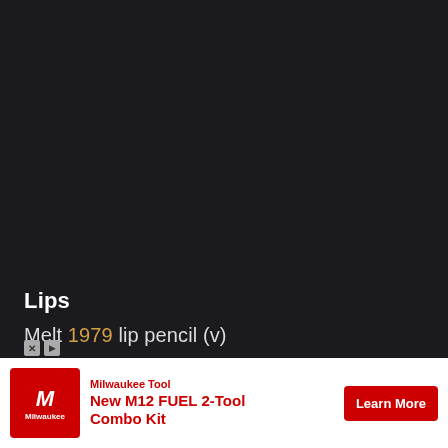Lips
Melt 1979 lip pencil (v)
Lethal Subzero lip gloss (v)
Milk M... Hydro Grip Pri... is still a favorite prime... ng
[Figure (screenshot): Milwaukee Tool advertisement banner at the bottom of the page showing red logo, 'New M12 FUEL 2-Tool Combo Kit' text, and 'Learn More' red button]